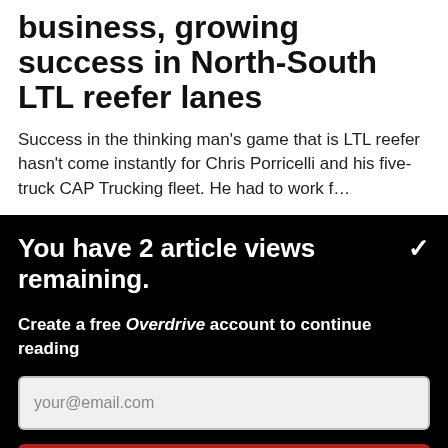business, growing success in North-South LTL reefer lanes
Success in the thinking man's game that is LTL reefer hasn't come instantly for Chris Porricelli and his five-truck CAP Trucking fleet. He had to work f…
You have 2 article views remaining.
Create a free Overdrive account to continue reading
your@email.com
CONTINUE